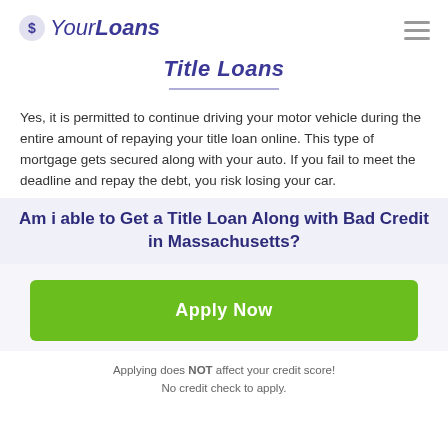YourLoans
Title Loans
Yes, it is permitted to continue driving your motor vehicle during the entire amount of repaying your title loan online. This type of mortgage gets secured along with your auto. If you fail to meet the deadline and repay the debt, you risk losing your car.
Am i able to Get a Title Loan Along with Bad Credit in Massachusetts?
[Figure (other): Green Apply Now button]
Applying does NOT affect your credit score! No credit check to apply.